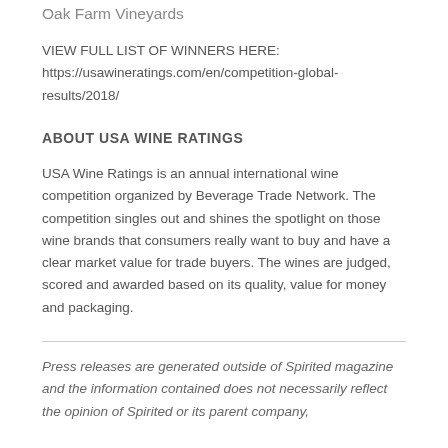Oak Farm Vineyards
VIEW FULL LIST OF WINNERS HERE:
https://usawineratings.com/en/competition-global-results/2018/
ABOUT USA WINE RATINGS
USA Wine Ratings is an annual international wine competition organized by Beverage Trade Network. The competition singles out and shines the spotlight on those wine brands that consumers really want to buy and have a clear market value for trade buyers. The wines are judged, scored and awarded based on its quality, value for money and packaging.
Press releases are generated outside of Spirited magazine and the information contained does not necessarily reflect the opinion of Spirited or its parent company,